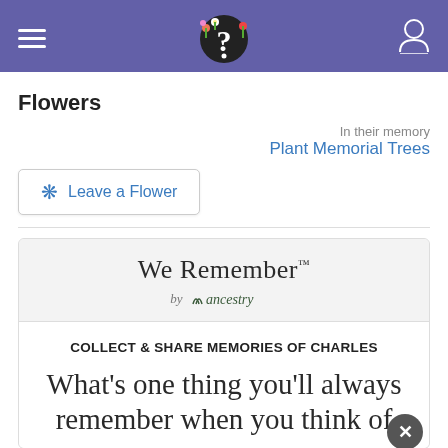[Figure (screenshot): Navigation bar with purple background, hamburger menu icon on left, decorative question mark with flowers logo in center, user profile icon on right]
Flowers
In their memory
Plant Memorial Trees
❋  Leave a Flower
[Figure (logo): We Remember by ancestry logo]
COLLECT & SHARE MEMORIES OF CHARLES
What’s one thing you’ll always remember when you think of